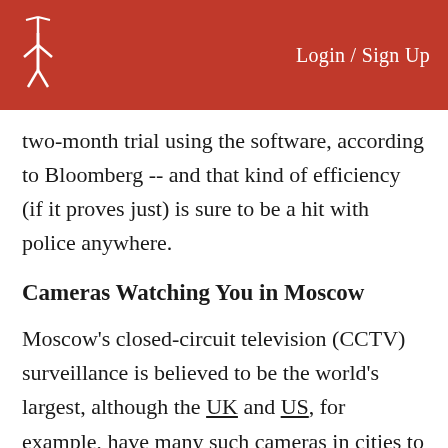Login / Sign Up
two-month trial using the software, according to Bloomberg -- and that kind of efficiency (if it proves just) is sure to be a hit with police anywhere.
Cameras Watching You in Moscow
Moscow's closed-circuit television (CCTV) surveillance is believed to be the world's largest, although the UK and US, for example, have many such cameras in cities to capture data on